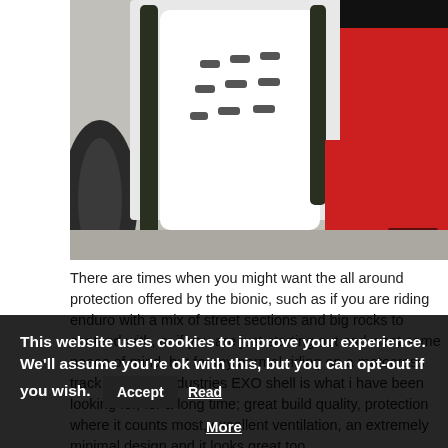[Figure (photo): Close-up photo of motorcycle protective gear / body armor on a dirt bike with red and white graphics, showing white chest/back protector with slotted vents, black frame guard, and red motorcycle body panel. A watermark logo appears in the bottom right corner.]
There are times when you might want the all around protection offered by the bionic, such as if you are riding enduro with a mix of street sections and big rocks to contend with, or if you are just starting out and want some peace of mind, but for my normal riding on a motocross track the ONE industries EXO shell is what i have been looking for, for a long time; great build quality, protection where it counts most, excellent ventilation, an extremely minimal design and it looks great too.
This website uses cookies to improve your experience. We'll assume you're ok with this, but you can opt-out if you wish. Accept Read More